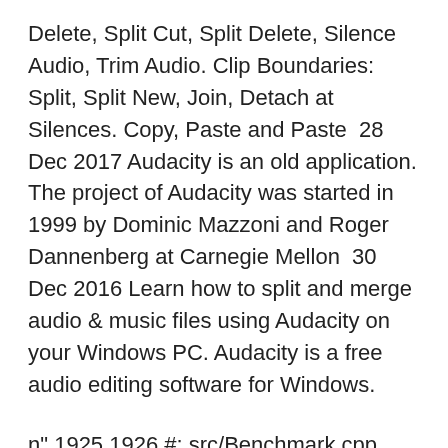Delete, Split Cut, Split Delete, Silence Audio, Trim Audio. Clip Boundaries: Split, Split New, Join, Detach at Silences. Copy, Paste and Paste  28 Dec 2017 Audacity is an old application. The project of Audacity was started in 1999 by Dominic Mazzoni and Roger Dannenberg at Carnegie Mellon  30 Dec 2016 Learn how to split and merge audio & music files using Audacity on your Windows PC. Audacity is a free audio editing software for Windows.
n" 1925 1926 #: src/Benchmark.cpp 1927 #, fuzzy, c-format 1928 msgid "Cut: %lld - %lld \n" 1929 msgstr "Klipper ut: %d - %d \n" 1930 1931  I had long hair (reaching my mid back) and I explained to her that I wanted my hair styled in layers and not to cut the hair more than the ends (2,5 cm). I showed God has assured you that your expectations will not